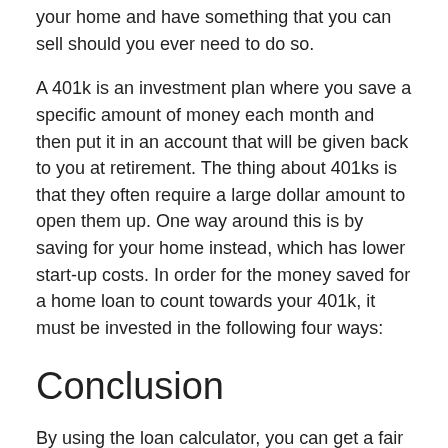your home and have something that you can sell should you ever need to do so.
A 401k is an investment plan where you save a specific amount of money each month and then put it in an account that will be given back to you at retirement. The thing about 401ks is that they often require a large dollar amount to open them up. One way around this is by saving for your home instead, which has lower start-up costs. In order for the money saved for a home loan to count towards your 401k, it must be invested in the following four ways:
Conclusion
By using the loan calculator, you can get a fair idea of what you can afford before going to a bank or credit union. You will also find out what your monthly payment would be and